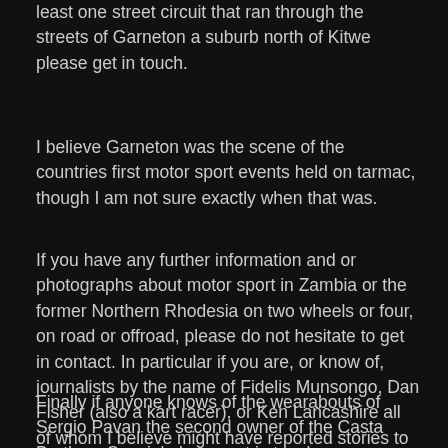least one street circuit that ran through the streets of Garneton a suburb north of Kitwe please get in touch.
I believe Garneton was the scene of the countries first motor sport events held on tarmac, though I am not sure exactly when that was.
If you have any further information and or photographs about motor sport in Zambia or the former Northern Rhodesia on two wheels or four, on road or offroad, please do not hesitate to get in contact. In particular if you are, or know of, journalists by the name of Fidelis Munsongo, Dan Fisher (also a kart racer), or Ken Lancashire all of whom I believe might have reported stories to the Times Of Zambia.
Finally if anyone knows of the wearabouts of Sergio Pavan the second owner of the Casta Brothers Special please get in touch.